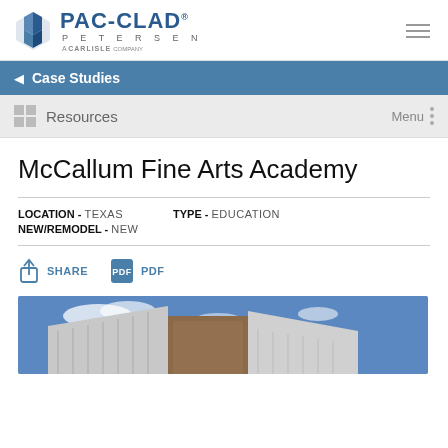[Figure (logo): PAC-CLAD Petersen, A Carlisle Company logo with blue geometric icon]
Case Studies
Resources    Menu
McCallum Fine Arts Academy
LOCATION - TEXAS    TYPE - EDUCATION    NEW/REMODEL - NEW
SHARE    PDF
[Figure (photo): Exterior architectural photo of McCallum Fine Arts Academy building with metal roof panels against blue sky]